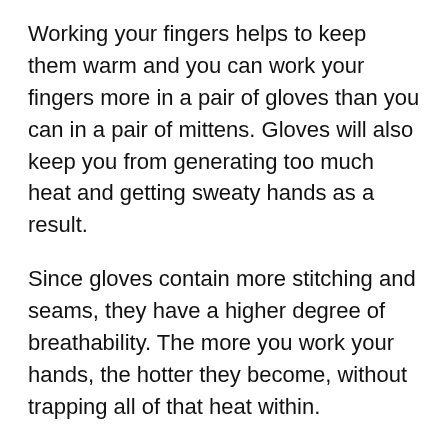Working your fingers helps to keep them warm and you can work your fingers more in a pair of gloves than you can in a pair of mittens. Gloves will also keep you from generating too much heat and getting sweaty hands as a result.
Since gloves contain more stitching and seams, they have a higher degree of breathability. The more you work your hands, the hotter they become, without trapping all of that heat within.
What are the warmest gloves that you can wear?
This boils down to the brand and the technology